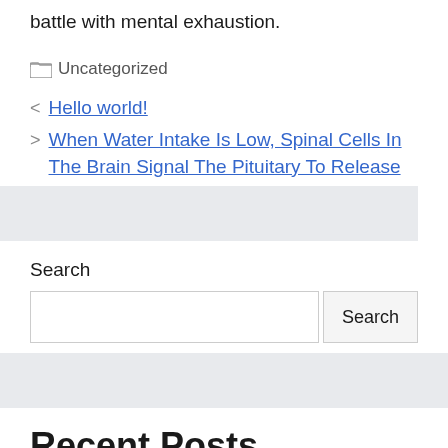battle with mental exhaustion.
Uncategorized
< Hello world!
> When Water Intake Is Low, Spinal Cells In The Brain Signal The Pituitary To Release
Search
Recent Posts